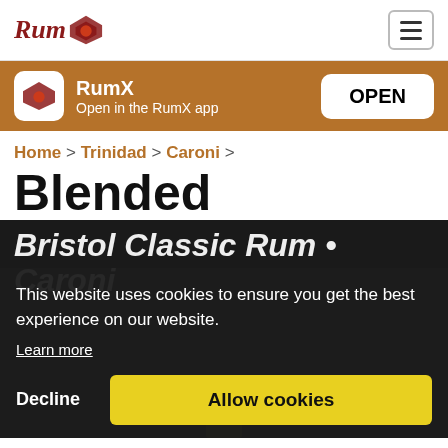RumX — hamburger navigation menu
RumX Open in the RumX app OPEN
Home > Trinidad > Caroni >
Blended
Bristol Classic Rum • Caroni
This website uses cookies to ensure you get the best experience on our website.
Learn more
Decline
Allow cookies
[Figure (photo): Dark bottle of Caroni Blended 1999 rum from Bristol Classic Rum, partially visible behind cookie consent overlay]